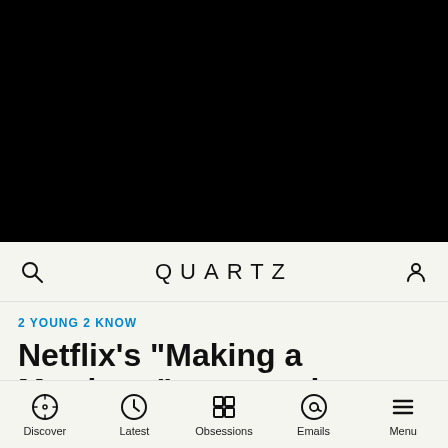[Figure (photo): Black image area (video/photo placeholder)]
QUARTZ
2 YOUNG 2 KNOW
Netflix's “Making a Murderer” may push SCOTUS to address a
Discover | Latest | Obsessions | Emails | Menu